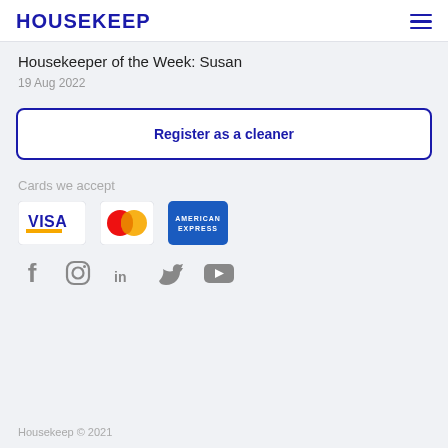HOUSEKEEP
Housekeeper of the Week: Susan
19 Aug 2022
Register as a cleaner
Cards we accept
[Figure (logo): Payment card logos: Visa, Mastercard, American Express]
[Figure (infographic): Social media icons: Facebook, Instagram, LinkedIn, Twitter, YouTube]
Housekeep © 2021